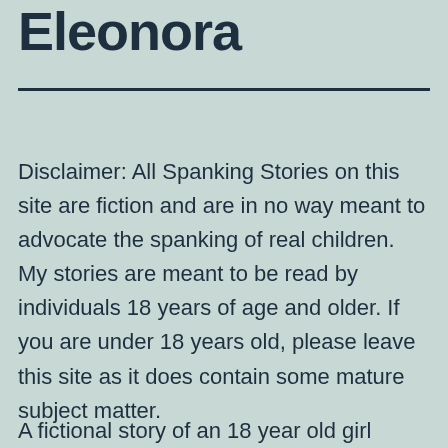Eleonora
Disclaimer: All Spanking Stories on this site are fiction and are in no way meant to advocate the spanking of real children. My stories are meant to be read by individuals 18 years of age and older. If you are under 18 years old, please leave this site as it does contain some mature subject matter.
A fictional story of an 18 year old girl being